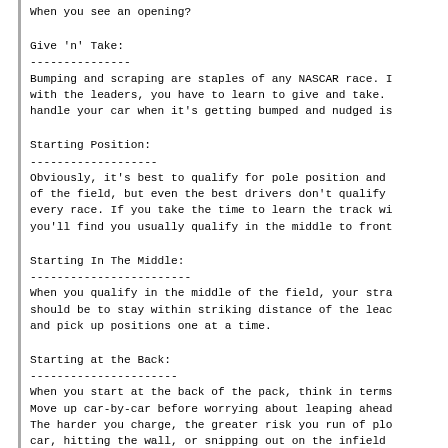When you see an opening?
Give 'n' Take:
---------------
Bumping and scraping are staples of any NASCAR race. I with the leaders, you have to learn to give and take. handle your car when it's getting bumped and nudged is
Starting Position:
-------------------
Obviously, it's best to qualify for pole position and of the field, but even the best drivers don't qualify every race. If you take the time to learn the track wi you'll find you usually qualify in the middle to front
Starting In The Middle:
------------------------
When you qualify in the middle of the field, your stra should be to stay within striking distance of the leac and pick up positions one at a time.
Starting at the Back:
----------------------
When you start at the back of the pack, think in terms Move up car-by-car before worrying about leaping ahead The harder you charge, the greater risk you run of plo car, hitting the wall, or snipping out on the infield